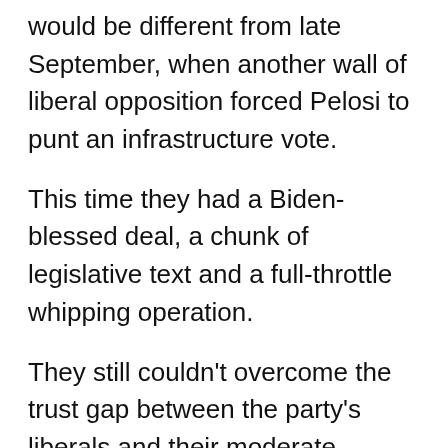would be different from late September, when another wall of liberal opposition forced Pelosi to punt an infrastructure vote.
This time they had a Biden-blessed deal, a chunk of legislative text and a full-throttle whipping operation.
They still couldn't overcome the trust gap between the party's liberals and their moderate colleagues across the Capitol: Sens. Kyrsten Sinema (D-Ariz.) and Joe Manchin (D-W.Va.).
“All they need to do is one simple thing, which is to affirm they are in agreement with the framework. They just need to publicly announce it. Clearly they aren’t willing to do that, which is